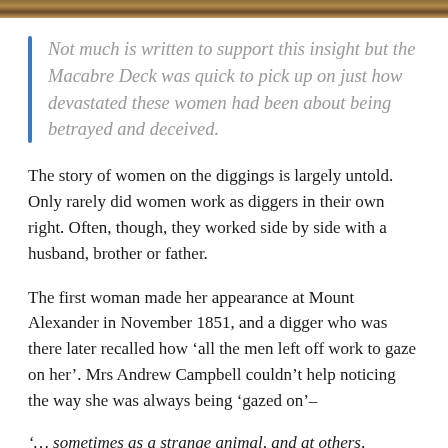[Figure (photo): A partial view of a photograph at the top of the page, showing warm brown and amber tones suggesting a historical or outdoor scene.]
Not much is written to support this insight but the Macabre Deck was quick to pick up on just how devastated these women had been about being betrayed and deceived.
The story of women on the diggings is largely untold. Only rarely did women work as diggers in their own right. Often, though, they worked side by side with a husband, brother or father.
The first woman made her appearance at Mount Alexander in November 1851, and a digger who was there later recalled how 'all the men left off work to gaze on her'. Mrs Andrew Campbell couldn't help noticing the way she was always being 'gazed on'–
'... sometimes as a strange animal, and at others,